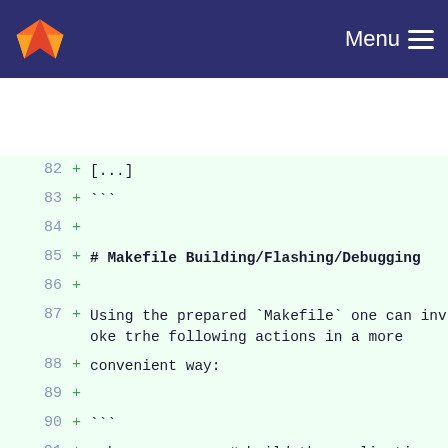GitLab Menu
82 + [...]
83 + ```
84 +
85 + # Makefile Building/Flashing/Debugging
86 +
87 + Using the prepared `Makefile` one can invoke trhe following actions in a more
88 + convenient way:
89 +
90 + ```
91 + make            # build the application with debug symbols
92 + make debug      # -"-
93 + make release  # debug a release version of the project
94 + make flash      # flash the application
95 + make debug      # debug the application